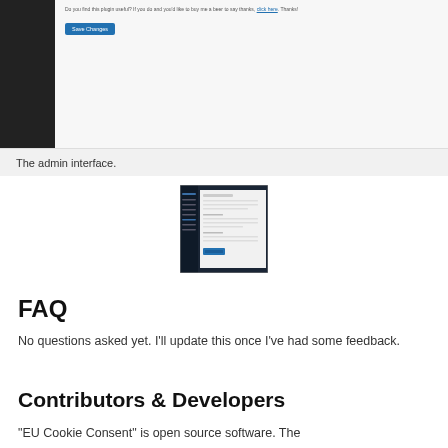[Figure (screenshot): WordPress admin interface screenshot showing a settings page with a 'Save Changes' button, small text about plugin assets, a link styled in blue, and a footer bar showing 'Thank you for creating with WordPress' and 'Version 6.0'.]
The admin interface.
[Figure (screenshot): Small thumbnail screenshot of the WordPress admin interface settings page.]
FAQ
No questions asked yet. I’ll update this once I’ve had some feedback.
Contributors & Developers
“EU Cookie Consent” is open source software. The